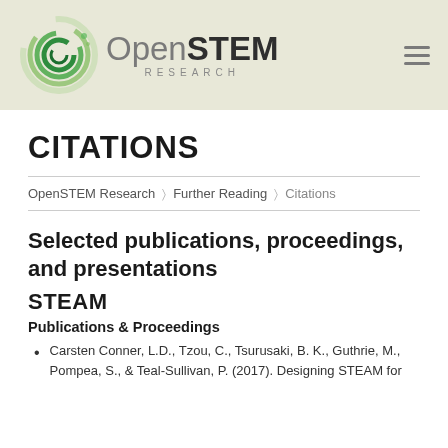[Figure (logo): OpenSTEM Research logo with circular green graphic and text]
CITATIONS
OpenSTEM Research > Further Reading > Citations
Selected publications, proceedings, and presentations
STEAM
Publications & Proceedings
Carsten Conner, L.D., Tzou, C., Tsurusaki, B. K., Guthrie, M., Pompea, S., & Teal-Sullivan, P. (2017). Designing STEAM for